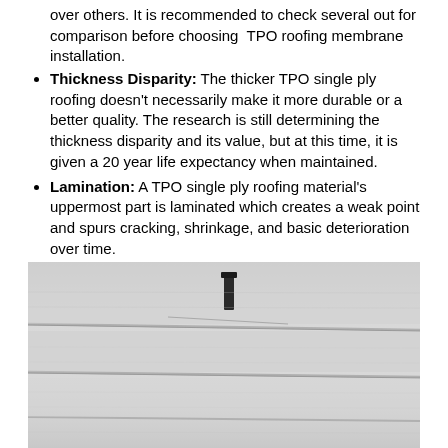over others. It is recommended to check several out for comparison before choosing TPO roofing membrane installation.
Thickness Disparity: The thicker TPO single ply roofing doesn't necessarily make it more durable or a better quality. The research is still determining the thickness disparity and its value, but at this time, it is given a 20 year life expectancy when maintained.
Lamination: A TPO single ply roofing material's uppermost part is laminated which creates a weak point and spurs cracking, shrinkage, and basic deterioration over time.
Seams: With TPO single ply roofing being sold in rolls of small-width, there are more seams, typically every 6 to 8 feet. This allows contracting and expanding of the temperature to cause the seams to loosen and pull apart.
[Figure (photo): Photograph of a white TPO roofing membrane surface showing visible seams running horizontally and a dark protrusion (pipe or fastener) in the upper center of the image.]